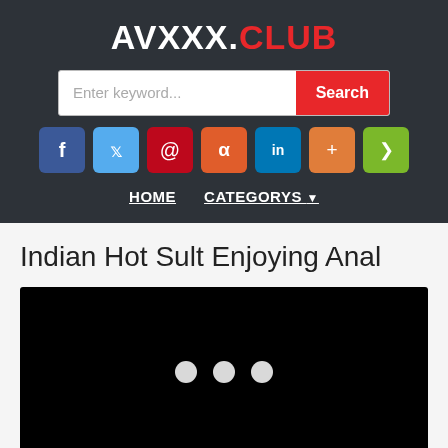AVXXX.CLUB
[Figure (screenshot): Search bar with 'Enter keyword...' placeholder and red 'Search' button]
[Figure (infographic): Social share icons: Facebook, Twitter, Pinterest, Reddit, LinkedIn, Blogger, Share]
HOME   CATEGORYS ▾
Indian Hot Sult Enjoying Anal
[Figure (screenshot): Black video player area with three white loading dots in the center]